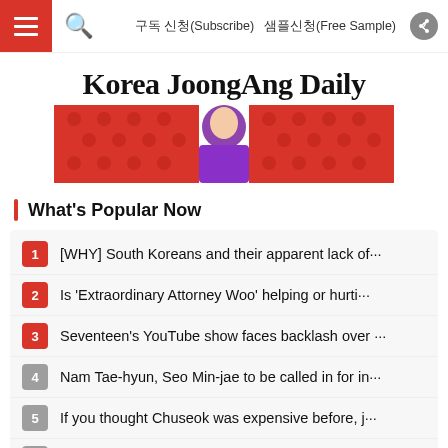Korea JoongAng Daily — nav bar with hamburger menu, search icon, 구독 신청(Subscribe), 샘플신청(Free Sample), share icon
Korea JoongAng Daily
[Figure (photo): Advertisement or promotional image showing a person in a purple outfit against a red polka-dot background]
What's Popular Now
1 [WHY] South Koreans and their apparent lack of···
2 Is 'Extraordinary Attorney Woo' helping or hurti···
3 Seventeen's YouTube show faces backlash over ···
4 Nam Tae-hyun, Seo Min-jae to be called in for in···
5 If you thought Chuseok was expensive before, j···
6 'Extraordinary Attorney Woo' comes to an end, ···
7 The below (and will be) is not a part (KOR)